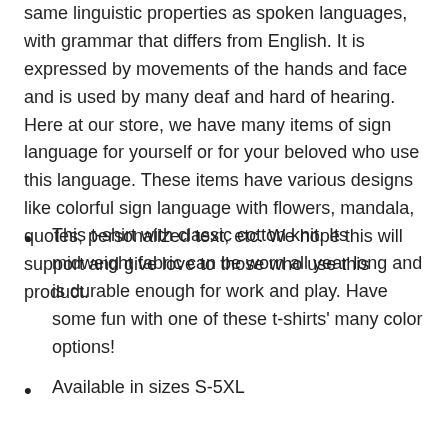same linguistic properties as spoken languages, with grammar that differs from English. It is expressed by movements of the hands and face and is used by many deaf and hard of hearing. Here at our store, we have many items of sign language for yourself or for your beloved who use this language. These items have various designs like colorful sign language with flowers, mandala, quotes, personalized text, etc. We hope this will support and give love to those who use this product.
This t-shirt with classic cotton knit. Its midweight fabric can be worn all year long and is durable enough for work and play. Have some fun with one of these t-shirts' many color options!
Available in sizes S-5XL